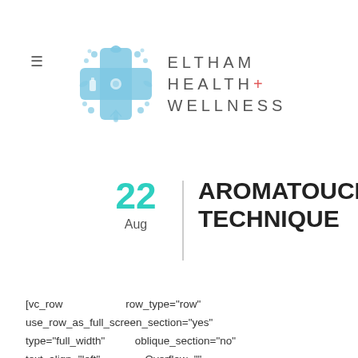[Figure (logo): Eltham Health + Wellness logo with blue floral cross emblem and text]
22 Aug AROMATOUCH TECHNIQUE
[vc_row row_type="row" use_row_as_full_screen_section="yes" type="full_width" oblique_section="no" text_align="left" Overflow="" triangle_shape="no" css_animation="" overflow=""][vc_column][vc_column_text]